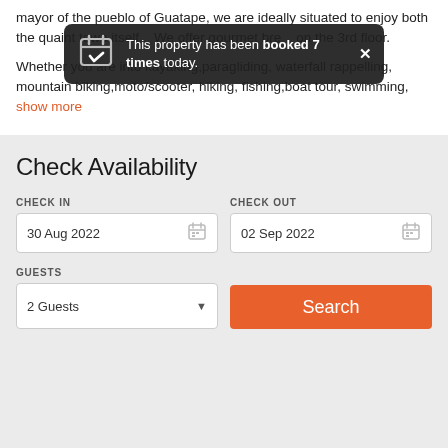mayor of the pueblo of Guatape, we are ideally situated to enjoy both the quaint town itself... We offer gourmet bre... on the 3rd floor.
[Figure (screenshot): Dark toast notification overlay: 'This property has been booked 7 times today.' with calendar checkmark icon and X close button]
Whether you are into kayaking,paragliding, waterfall rappelling, mountain biking,moto/scooter, hiking, fishing,boat tour, swimming, show more
Check Availability
CHECK IN
30 Aug 2022
CHECK OUT
02 Sep 2022
GUESTS
2 Guests
Search